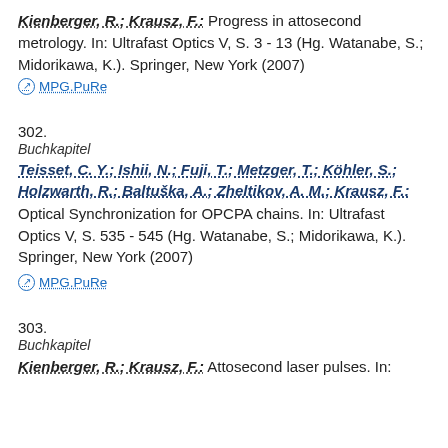Kienberger, R.; Krausz, F.: Progress in attosecond metrology. In: Ultrafast Optics V, S. 3 - 13 (Hg. Watanabe, S.; Midorikawa, K.). Springer, New York (2007)
MPG.PuRe
302.
Buchkapitel
Teisset, C. Y.; Ishii, N.; Fuji, T.; Metzger, T.; Köhler, S.; Holzwarth, R.; Baltuška, A.; Zheltikov, A. M.; Krausz, F.: Optical Synchronization for OPCPA chains. In: Ultrafast Optics V, S. 535 - 545 (Hg. Watanabe, S.; Midorikawa, K.). Springer, New York (2007)
MPG.PuRe
303.
Buchkapitel
Kienberger, R.; Krausz, F.: Attosecond laser pulses. In: